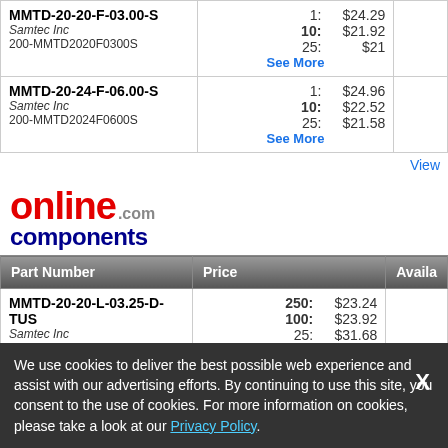| Part Number | Price | Avail |
| --- | --- | --- |
| MMTD-20-20-F-03.00-S
Samtec Inc
200-MMTD2020F0300S | 1: $24.29
10: $21.92
25: $21
See More |  |
| MMTD-20-24-F-06.00-S
Samtec Inc
200-MMTD2024F0600S | 1: $24.96
10: $22.52
25: $21.58
See More |  |
View
[Figure (logo): onlinecomponents.com logo with red 'online', dark blue 'components', and gray '.com']
| Part Number | Price | Avail |
| --- | --- | --- |
| MMTD-20-20-L-03.25-D-TUS
Samtec Inc | 250: $23.24
100: $23.92
25: $31.68 |  |
We use cookies to deliver the best possible web experience and assist with our advertising efforts. By continuing to use this site, you consent to the use of cookies. For more information on cookies, please take a look at our Privacy Policy.